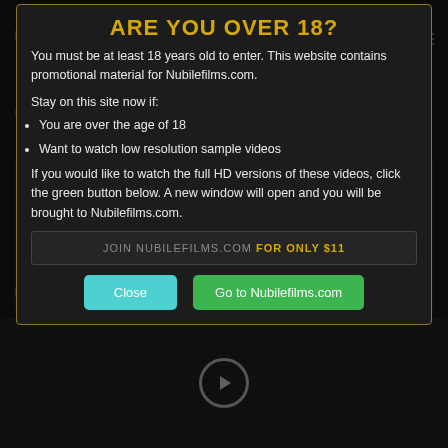[Figure (screenshot): Age verification modal dialog overlay on adult website Nubilefilms.com. Dark background with website content visible behind semi-transparent overlay. Modal has gold border and contains age verification warning.]
ARE YOU OVER 18?
You must be at least 18 years old to enter. This website contains promotional material for Nubilefilms.com.
Stay on this site now if:
You are over the age of 18
Want to watch low resolution sample videos
If you would like to watch the full HD versions of these videos, click the green button below. A new window will open and you will be brought to Nubilefilms.com.
JOIN NUBILEFILMS.COM FOR ONLY $11